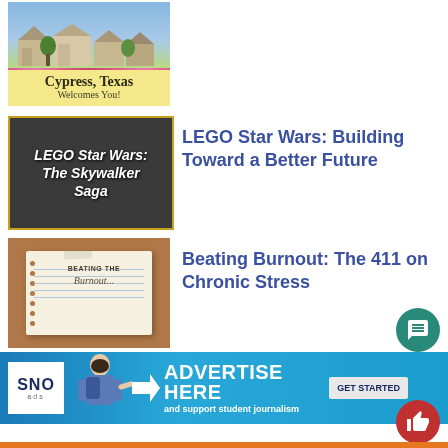[Figure (photo): Cypress, Texas Welcomes You! thumbnail with green landscape and flowers]
[Figure (photo): LEGO Star Wars: The Skywalker Saga game cover thumbnail on dark background]
LEGO Star Wars: Building Toward a Better Future
[Figure (photo): Beating the Burnout illustrated notebook thumbnail on brown background]
Beating Burnout: The 411 on Chronic Stress
[Figure (infographic): SNO ads advertise here banner with student journalism promotion and GET STARTED button]